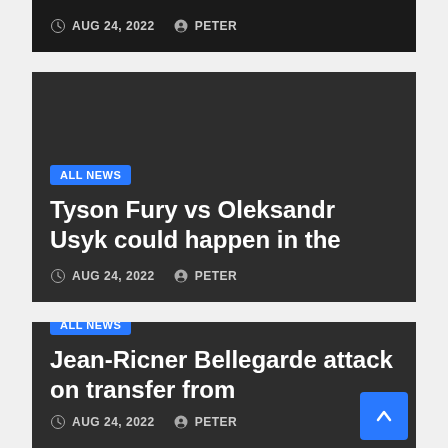AUG 24, 2022   PETER
[Figure (screenshot): Dark news card with ALL NEWS tag, headline: Tyson Fury vs Oleksandr Usyk could happen in the, dated AUG 24, 2022 by PETER]
[Figure (screenshot): Dark news card with ALL NEWS tag, headline: Jean-Ricner Bellegarde attack on transfer from, dated AUG 24, 2022 by PETER]